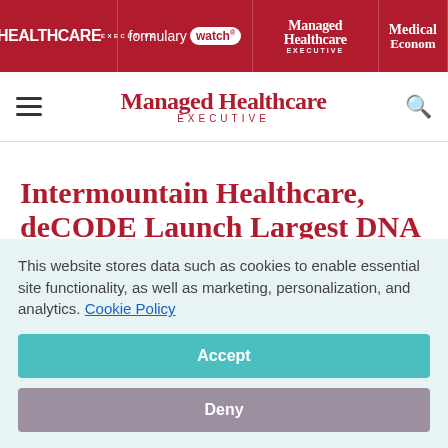HEALTHCARE EXECUTIVE | formulary watch | Managed Healthcare EXECUTIVE | Medical Economics
[Figure (logo): Managed Healthcare Executive logo in red with hamburger menu and search icon]
Intermountain Healthcare, deCODE Launch Largest DNA Mapping Project in United States
This website stores data such as cookies to enable essential site functionality, as well as marketing, personalization, and analytics. Cookie Policy
Accept
Deny